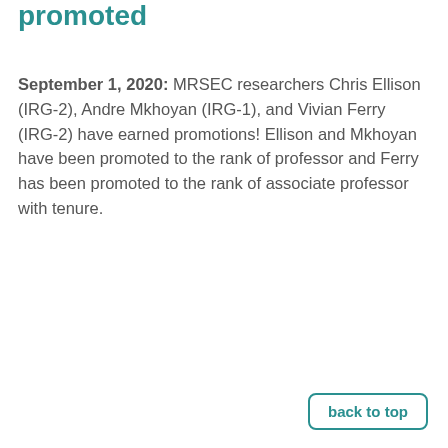promoted
September 1, 2020: MRSEC researchers Chris Ellison (IRG-2), Andre Mkhoyan (IRG-1), and Vivian Ferry (IRG-2) have earned promotions! Ellison and Mkhoyan have been promoted to the rank of professor and Ferry has been promoted to the rank of associate professor with tenure.
back to top